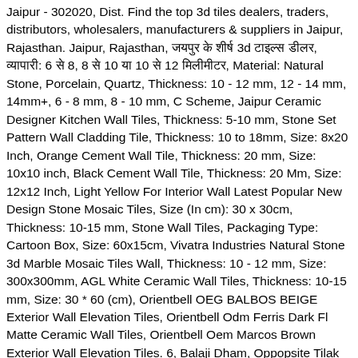Jaipur - 302020, Dist. Find the top 3d tiles dealers, traders, distributors, wholesalers, manufacturers & suppliers in Jaipur, Rajasthan. Jaipur, Rajasthan, जयपुर के शीर्ष 3d टाइल्स डीलर, व्यापारी: 6 से 8, 8 से 10 या 10 से 12 मिलीमीटर, Material: Natural Stone, Porcelain, Quartz, Thickness: 10 - 12 mm, 12 - 14 mm, 14mm+, 6 - 8 mm, 8 - 10 mm, C Scheme, Jaipur Ceramic Designer Kitchen Wall Tiles, Thickness: 5-10 mm, Stone Set Pattern Wall Cladding Tile, Thickness: 10 to 18mm, Size: 8x20 Inch, Orange Cement Wall Tile, Thickness: 20 mm, Size: 10x10 inch, Black Cement Wall Tile, Thickness: 20 Mm, Size: 12x12 Inch, Light Yellow For Interior Wall Latest Popular New Design Stone Mosaic Tiles, Size (In cm): 30 x 30cm, Thickness: 10-15 mm, Stone Wall Tiles, Packaging Type: Cartoon Box, Size: 60x15cm, Vivatra Industries Natural Stone 3d Marble Mosaic Tiles Wall, Thickness: 10 - 12 mm, Size: 300x300mm, AGL White Ceramic Wall Tiles, Thickness: 10-15 mm, Size: 30 * 60 (cm), Orientbell OEG BALBOS BEIGE Exterior Wall Elevation Tiles, Orientbell Odm Ferris Dark Fl Matte Ceramic Wall Tiles, Orientbell Oem Marcos Brown Exterior Wall Elevation Tiles. 6, Balaji Dham, Oppopsite Tilak Hospital, Agra Road, Jaipur - 303012, Dist. B 42, Mahaveer Nagar Toll Tax, India Gate, Jaipur - 311302, Dist. Find here verified green ceramic tile manufacturers in Jaipur Rajasthan,green ceramic tile suppliers wholesalers traders dealers in Jaipur, Get green ceramic